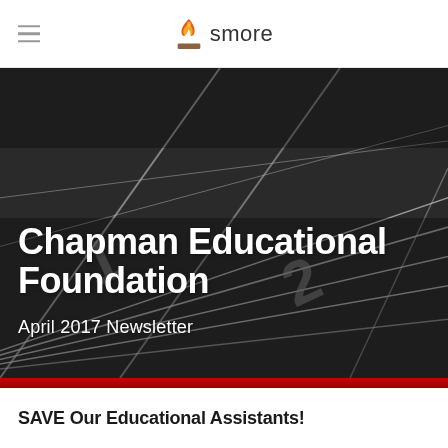smore
[Figure (photo): Overhead view of a running track with lane markings and numbers painted in white on dark asphalt. Monochrome/dark tone. Text overlay reads 'Chapman Educational Foundation' and 'April 2017 Newsletter'.]
Chapman Educational Foundation
April 2017 Newsletter
SAVE Our Educational Assistants!